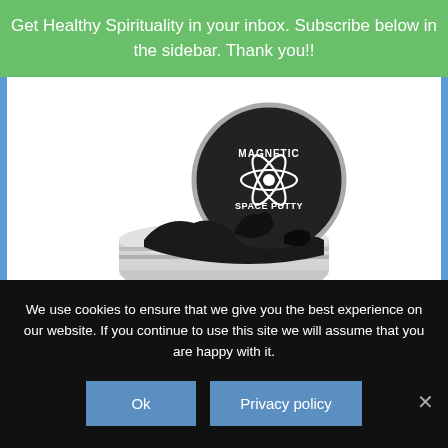Get Healthy Spirituality in your inbox. Subscribe below in the sidebar. Thank you!!
[Figure (photo): A tin of Magnetic Space Putty (black putty product) with lid showing atomic/space design logo. Black putty is overflowing from the opened silver metallic tin container.]
And I have heard the controversy about the spinning widgets all the kids are playing with. I
We use cookies to ensure that we give you the best experience on our website. If you continue to use this site we will assume that you are happy with it.